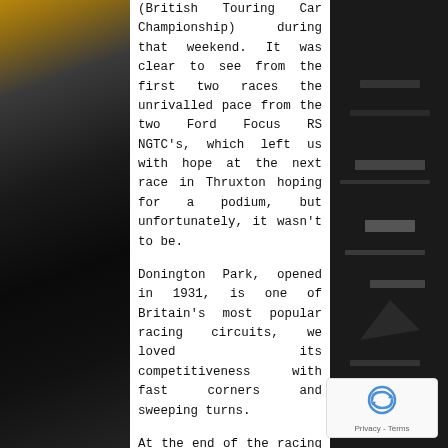[Figure (photo): Left side: dark background photo of a racing car, orange/gold visible at top left. Right side: dark background photo of what appears to be a racing car interior or pit equipment.]
(British Touring Car Championship) during that weekend. It was clear to see from the first two races the unrivalled pace from the two Ford Focus RS NGTC's, which left us with hope at the next race in Thruxton hoping for a podium, but unfortunately, it wasn't to be.

Donington Park, opened in 1931, is one of Britain's most popular racing circuits, we loved its competitiveness with fast corners and sweeping turns.

At the end of the racing year, Tom Chilton finished in a very impressive 3rd place! The team as a whole with James Cole's driving as well saw Motorbase get the points to finish in the Top